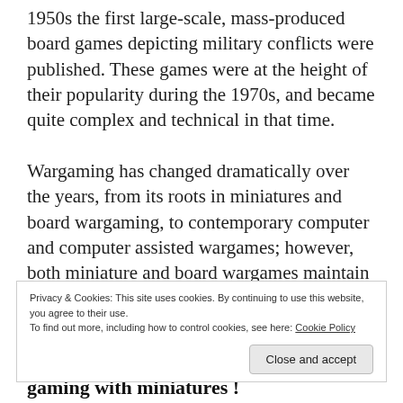1950s the first large-scale, mass-produced board games depicting military conflicts were published. These games were at the height of their popularity during the 1970s, and became quite complex and technical in that time.

Wargaming has changed dramatically over the years, from its roots in miniatures and board wargaming, to contemporary computer and computer assisted wargames; however, both miniature and board wargames maintain a healthy, if small, hobby market with lighter
Privacy & Cookies: This site uses cookies. By continuing to use this website, you agree to their use.
To find out more, including how to control cookies, see here: Cookie Policy
gaming with miniatures !